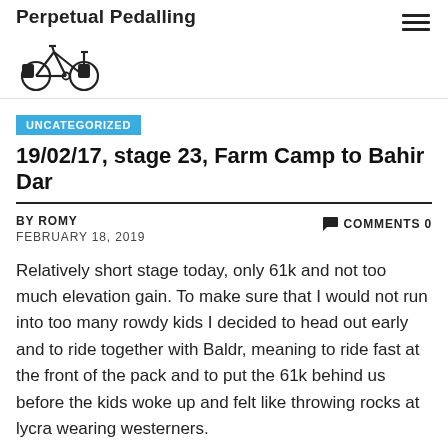Perpetual Pedalling
UNCATEGORIZED
19/02/17, stage 23, Farm Camp to Bahir Dar
BY ROMY
FEBRUARY 18, 2019
COMMENTS 0
Relatively short stage today, only 61k and not too much elevation gain. To make sure that I would not run into too many rowdy kids I decided to head out early and to ride together with Baldr, meaning to ride fast at the front of the pack and to put the 61k behind us before the kids woke up and felt like throwing rocks at lycra wearing westerners.